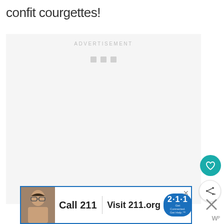confit courgettes!
[Figure (other): Advertisement placeholder box with text 'ADVERTISEMENT' and three grey loading dots]
[Figure (other): Teal circular heart/favourite button icon]
[Figure (other): White circular share button icon with share symbol and plus sign]
[Figure (other): Banner advertisement: woman on phone, Call 211, Visit 211.org, 2-1-1 badge with tagline 'Get Connected. Get Help.']
[Figure (other): Close X button and W logo mark in bottom right corner]